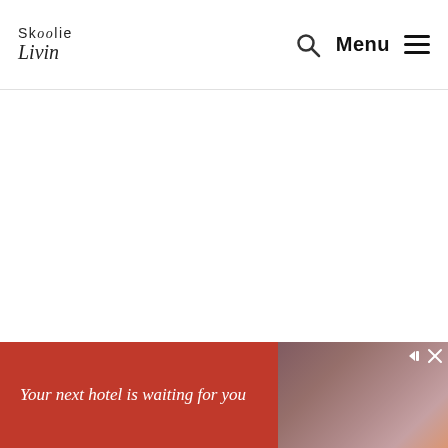Skoolie Livin — Menu
Allison 2000 Series
[Figure (screenshot): Advertisement banner: 'Your next hotel is waiting for you' with red background and hotel image on the right, showing close and forward navigation icons]